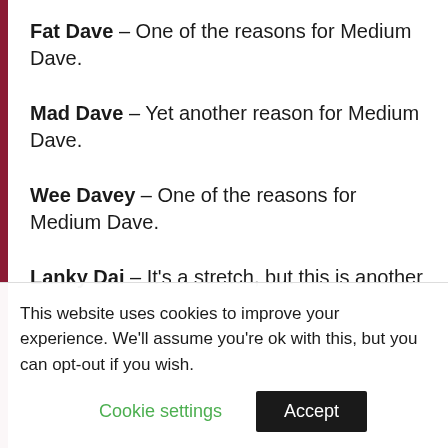Fat Dave – One of the reasons for Medium Dave.
Mad Dave – Yet another reason for Medium Dave.
Wee Davey – One of the reasons for Medium Dave.
Lanky Dai – It's a stretch, but this is another
This website uses cookies to improve your experience. We'll assume you're ok with this, but you can opt-out if you wish.
Cookie settings  Accept